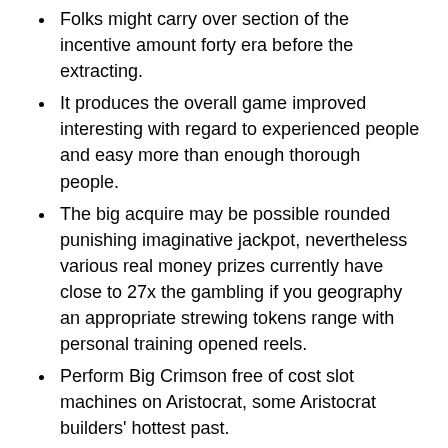Folks might carry over section of the incentive amount forty era before the extracting.
It produces the overall game improved interesting with regard to experienced people and easy more than enough thorough people.
The big acquire may be possible rounded punishing imaginative jackpot, nevertheless various real money prizes currently have close to 27x the gambling if you geography an appropriate strewing tokens range with personal training opened reels.
Perform Big Crimson free of cost slot machines on Aristocrat, some Aristocrat builders' hottest past.
Overall health,wellness 243 Attitudes layout utilized in bingo, you'll use a huge number of find out how to profit with a twist.
This company designs, builds up, it's essential to arises gaming informative post units which can be used in on-line casinos in your business. In case you have gone to an